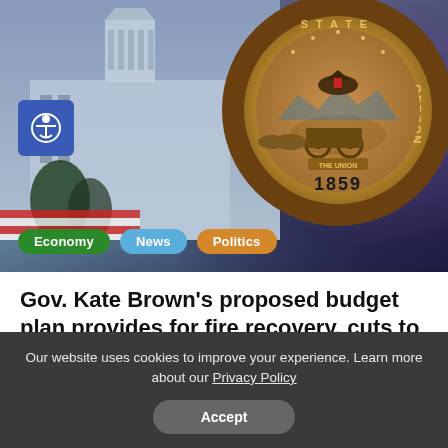[Figure (photo): Hero image showing Oregon State Capitol building on the left with a blue-gray sky, and the Oregon State Seal (1859) on the right against a purple background. An accessibility icon button is in the upper left. Category tags Economy, News, Politics appear at the bottom.]
Gov. Kate Brown’s proposed budget plan provides for fire recovery, cuts to hospitals
Grace Smith | December 1, 2020
Our website uses cookies to improve your experience. Learn more about our Privacy Policy
Accept